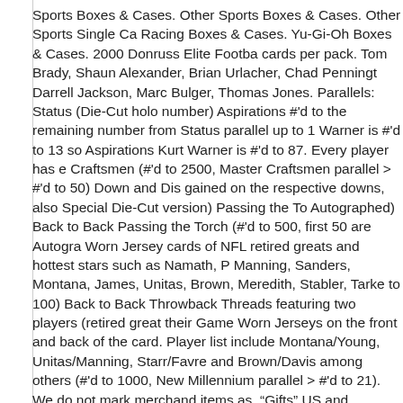Sports Boxes & Cases. Other Sports Boxes & Cases. Other Sports Single Ca Racing Boxes & Cases. Yu-Gi-Oh Boxes & Cases. 2000 Donruss Elite Footba cards per pack. Tom Brady, Shaun Alexander, Brian Urlacher, Chad Penningt Darrell Jackson, Marc Bulger, Thomas Jones. Parallels: Status (Die-Cut holo number) Aspirations #'d to the remaining number from Status parallel up to 1 Warner is #'d to 13 so Aspirations Kurt Warner is #'d to 87. Every player has Craftsmen (#'d to 2500, Master Craftsmen parallel > #'d to 50) Down and Dis gained on the respective downs, also Special Die-Cut version) Passing the T Autographed) Back to Back Passing the Torch (#'d to 500, first 50 are Autogra Worn Jersey cards of NFL retired greats and hottest stars such as Namath, P Manning, Sanders, Montana, James, Unitas, Brown, Meredith, Stabler, Tarke to 100) Back to Back Throwback Threads featuring two players (retired great their Game Worn Jerseys on the front and back of the card. Player list include Montana/Young, Unitas/Manning, Starr/Favre and Brown/Davis among others (#'d to 1000, New Millennium parallel > #'d to 21). We do not mark merchand items as. "Gifts" US and International government regulations prohibit such. T Football Hobby Box" is in sale since Friday, May 24, 2019. This item is in the Fan Shop\Sports Trading Cards\Football Cards". The seller is "steelcitycollec McKeesport, Pennsylvania. This item can be shipped to United States, Cana Romania, Slovakia, Bulgaria, Czech republic, Finland, Hungary, Latvia, Lithu Greece, Portugal, Cyprus, Slovenia, Japan, China, Sweden, South Korea, Inc Thailand, Belgium, France, Hong Kong, Ireland, Netherlands, Poland, Spain, Israel, Mexico, New Zealand, Singapore, Switzerland, Norway, Saudi arabia,